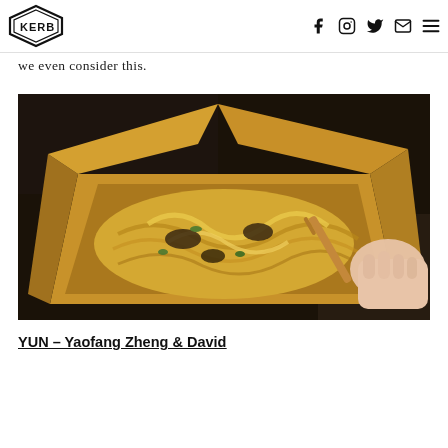KERB [logo] [facebook] [instagram] [twitter] [email] [menu]
we even consider this.
[Figure (photo): A hand holding an open kraft paper takeaway box filled with noodles, vegetables and sauce with a wooden fork, photographed against a dark background.]
YUN – Yaofang Zheng & David